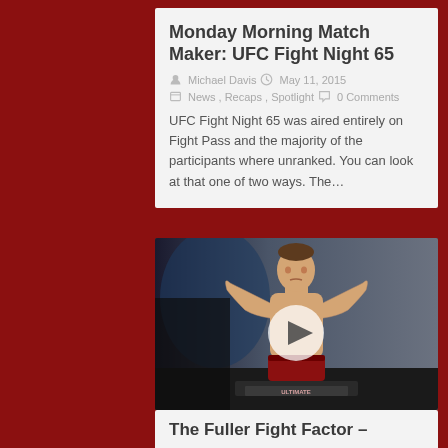Monday Morning Match Maker: UFC Fight Night 65
Michael Davis   May 11, 2015
News , Recaps , Spotlight   0 Comments
UFC Fight Night 65 was aired entirely on Fight Pass and the majority of the participants where unranked. You can look at that one of two ways. The…
[Figure (photo): A shirtless male MMA fighter posing flexing on a weigh-in scale with an Ultimate Fighter logo banner visible. A circular play button overlay is visible in the center.]
The Fuller Fight Factor –